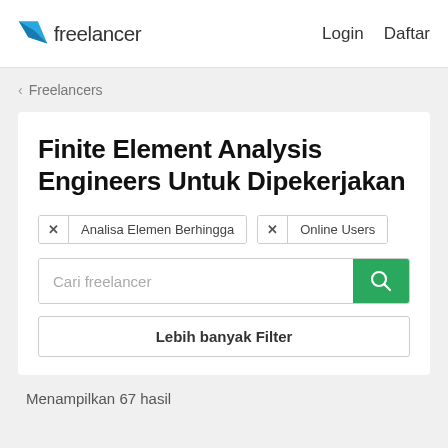freelancer  Login  Daftar
‹ Freelancers
Finite Element Analysis Engineers Untuk Dipekerjakan
✕ Analisa Elemen Berhingga   ✕ Online Users
Cari freelancer
Lebih banyak Filter
Menampilkan 67 hasil